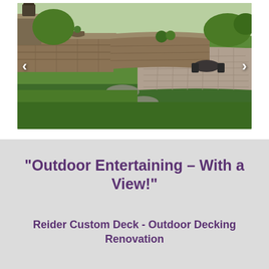[Figure (photo): Outdoor stone patio and retaining wall with stepping stones leading through a green lawn to a paved seating area with furniture. Navigation arrows on left and right sides of the image.]
"Outdoor Entertaining – With a View!"
Reider Custom Deck - Outdoor Decking Renovation